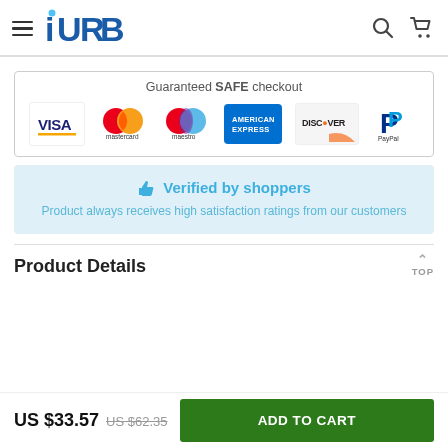URB - e-commerce site header with navigation, search, and cart icons
[Figure (infographic): Guaranteed SAFE checkout section with payment method logos: VISA, Mastercard, Maestro, American Express, Discover, PayPal]
[Figure (infographic): Verified by shoppers badge with thumbs up icon and text: Product always receives high satisfaction ratings from our customers]
Product Details
US $33.57  US $62.35  ADD TO CART